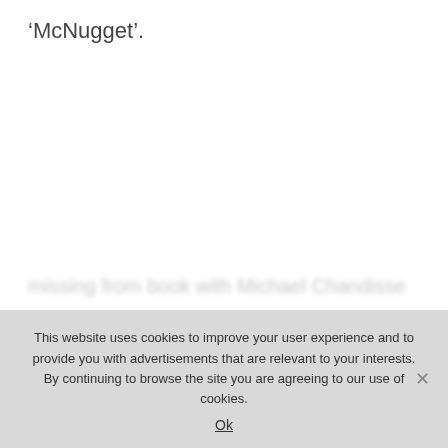‘McNugget’.
This website uses cookies to improve your user experience and to provide you with advertisements that are relevant to your interests. By continuing to browse the site you are agreeing to our use of cookies.
Ok